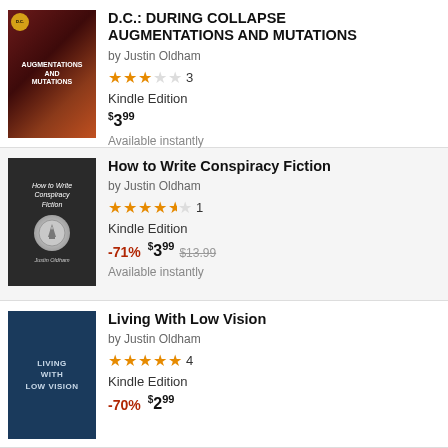[Figure (illustration): Book cover for D.C.: During Collapse Augmentations and Mutations - sci-fi themed with armored figure and DNA helix on dark red background]
D.C.: DURING COLLAPSE AUGMENTATIONS AND MUTATIONS
by Justin Oldham
3 stars (3 reviews), Kindle Edition, $3.99, Available instantly
[Figure (illustration): Book cover for How to Write Conspiracy Fiction - dark background with coin showing pyramid and eye symbol]
How to Write Conspiracy Fiction
by Justin Oldham
4.5 stars (1 review), Kindle Edition, -71% $3.99 (was $13.99), Available instantly
[Figure (illustration): Book cover for Living With Low Vision - dark blue cover with white uppercase text]
Living With Low Vision
by Justin Oldham
4.5 stars (4 reviews), Kindle Edition, -70% $2.99